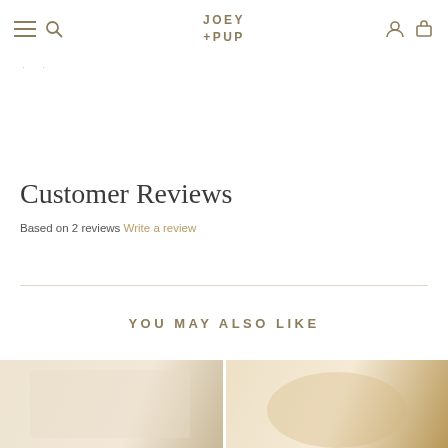JOEY +PUP — navigation header with menu, search, account, cart icons
· ·
Customer Reviews
Based on 2 reviews Write a review
YOU MAY ALSO LIKE
[Figure (photo): Product photo left — light fabric/cream background]
[Figure (photo): Product photo right — warm cream/beige product shot]